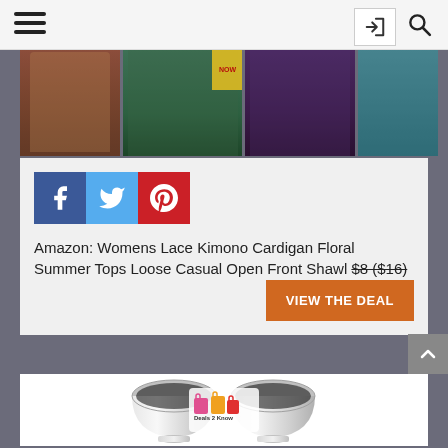Navigation bar with hamburger menu, login button, and search icon
[Figure (photo): Strip of women's floral kimono cardigan product images showing models in floral tops and shorts]
[Figure (logo): Facebook, Twitter, and Pinterest social share buttons]
Amazon: Womens Lace Kimono Cardigan Floral Summer Tops Loose Casual Open Front Shawl $8 ($16)
[Figure (other): VIEW THE DEAL orange button]
[Figure (photo): Two stainless steel mixing bowls with Deals 2 Know watermark logo overlay]